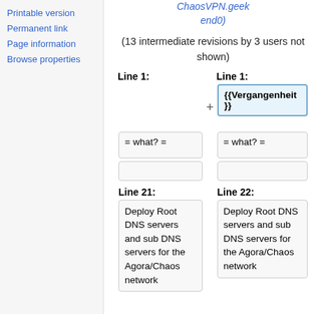Printable version
Permanent link
Page information
Browse properties
ChaosVPN.geek end0)
(13 intermediate revisions by 3 users not shown)
Line 1:
Line 1:
+ {{Vergangenheit }}
= what? =
= what? =
Line 21:
Line 22:
Deploy Root DNS servers and sub DNS servers for the Agora/Chaos network
Deploy Root DNS servers and sub DNS servers for the Agora/Chaos network